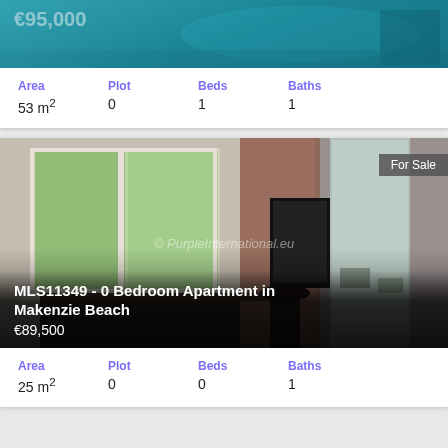[Figure (photo): Partial top of property listing card showing pool area image with price €95,000]
| Area | Plot | Beds | Baths |
| --- | --- | --- | --- |
| 53 m² | 0 | 1 | 1 |
[Figure (photo): Interior room photo of apartment in Makenzie Beach with window view, desk, curtains, and balcony. Watermark: © PurpleInternational.eu. Badge: For Sale. Title: MLS11349 - 0 Bedroom Apartment in Makenzie Beach. Price: €89,500]
| Area | Plot | Beds | Baths |
| --- | --- | --- | --- |
| 25 m² | 0 | 0 | 1 |